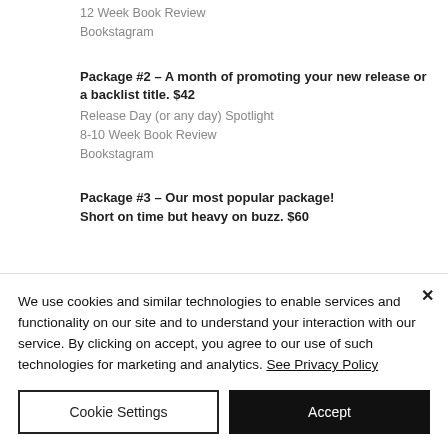12 Week Book Review
Bookstagram
Package #2 – A month of promoting your new release or a backlist title. $42
Release Day (or any day) Spotlight
8-10 Week Book Review
Bookstagram
Package #3 – Our most popular package! Short on time but heavy on buzz. $60
We use cookies and similar technologies to enable services and functionality on our site and to understand your interaction with our service. By clicking on accept, you agree to our use of such technologies for marketing and analytics. See Privacy Policy